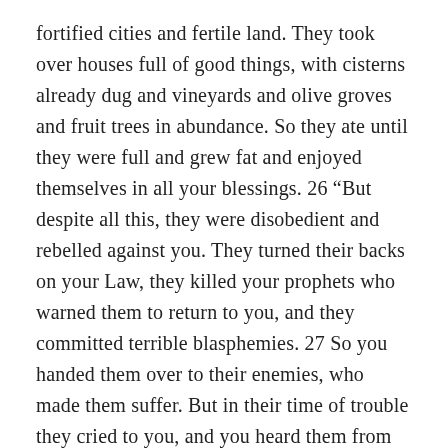fortified cities and fertile land. They took over houses full of good things, with cisterns already dug and vineyards and olive groves and fruit trees in abundance. So they ate until they were full and grew fat and enjoyed themselves in all your blessings. 26 “But despite all this, they were disobedient and rebelled against you. They turned their backs on your Law, they killed your prophets who warned them to return to you, and they committed terrible blasphemies. 27 So you handed them over to their enemies, who made them suffer. But in their time of trouble they cried to you, and you heard them from heaven. In your great mercy, you sent them liberators who rescued them from their enemies. 28 “But as soon as they were at peace, your people again committed evil in your sight, and once more you let their enemies conquer them. Yet whenever your people turned and cried to you again for help,